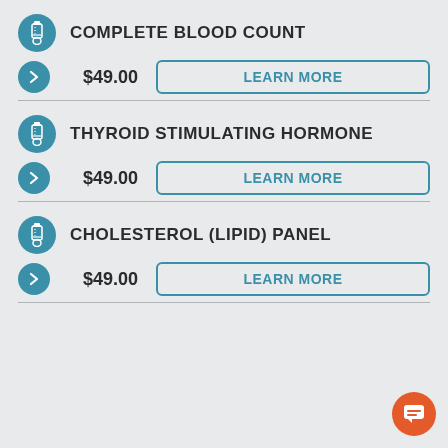COMPLETE BLOOD COUNT
$49.00
LEARN MORE
THYROID STIMULATING HORMONE
$49.00
LEARN MORE
CHOLESTEROL (LIPID) PANEL
$49.00
LEARN MORE